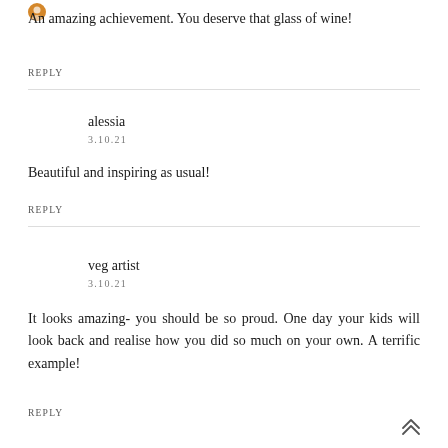[Figure (illustration): Small orange/gold avatar icon at top left]
An amazing achievement. You deserve that glass of wine!
REPLY
alessia
3.10.21
Beautiful and inspiring as usual!
REPLY
veg artist
3.10.21
It looks amazing- you should be so proud. One day your kids will look back and realise how you did so much on your own. A terrific example!
REPLY
[Figure (illustration): Double chevron / scroll-to-top arrow icon at bottom right]